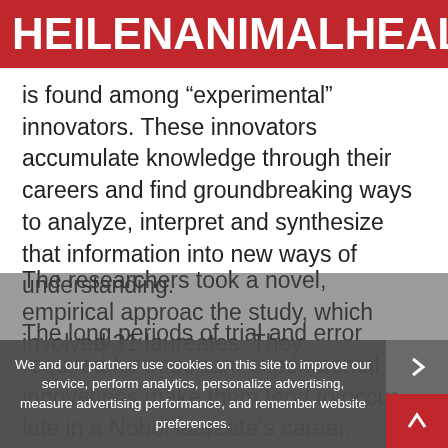HEILENANIMALHEALTH
is found among “experimental” innovators. These innovators accumulate knowledge through their careers and find groundbreaking ways to analyze, interpret and synthesize that information into new ways of understanding.
The long periods of trial and error required for important experimental innovations make them tend to occur late in a Nobel laureate’s career.
“Whether you hit your creative peak early or late in your career depends on whether you have a conceptual or experimental approach,” Weinberg said.
The researchers took a novel, empirical approach the study, which involved 31 laureates. They
We and our partners use cookies on this site to improve our service, perform analytics, personalize advertising, measure advertising performance, and remember website preferences.